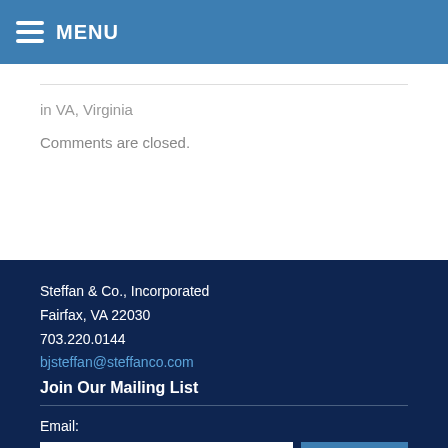MENU
in VA, Virginia
Comments are closed.
Steffan & Co., Incorporated
Fairfax, VA 22030
703.220.0144
bjsteffan@steffanco.com
Join Our Mailing List
Email: